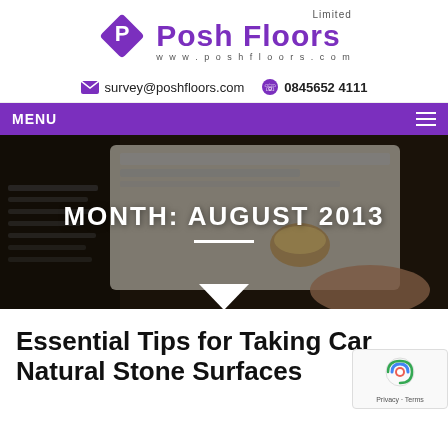[Figure (logo): Posh Floors Limited logo with purple diamond P icon, company name in purple, and www.poshfloors.com URL]
survey@poshfloors.com   0845652 4111
MENU
[Figure (photo): Dark hero banner with a person using a laptop, showing a blog-style website on screen]
MONTH: AUGUST 2013
Essential Tips for Taking Care of Natural Stone Surfaces